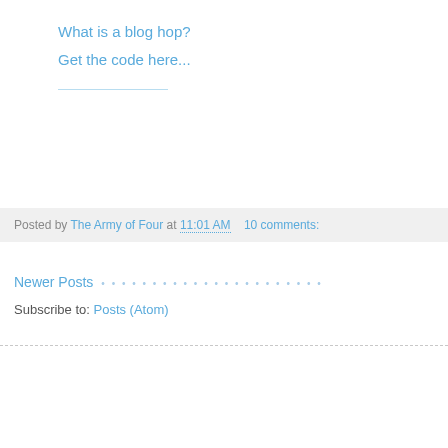What is a blog hop?
Get the code here...
Posted by The Army of Four at 11:01 AM    10 comments:
Newer Posts
Subscribe to: Posts (Atom)